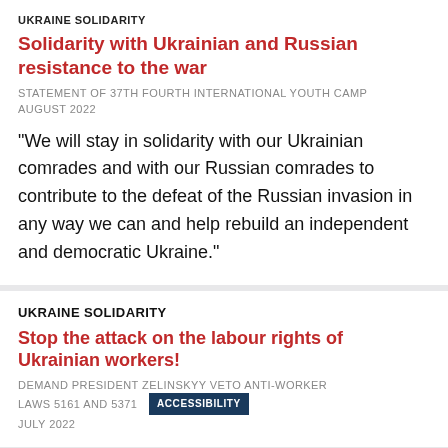UKRAINE SOLIDARITY
Solidarity with Ukrainian and Russian resistance to the war
STATEMENT OF 37TH FOURTH INTERNATIONAL YOUTH CAMP
AUGUST 2022
“We will stay in solidarity with our Ukrainian comrades and with our Russian comrades to contribute to the defeat of the Russian invasion in any way we can and help rebuild an independent and democratic Ukraine.”
UKRAINE SOLIDARITY
Stop the attack on the labour rights of Ukrainian workers!
DEMAND PRESIDENT ZELINSKYY VETO ANTI-WORKER LAWS 5161 AND 5371
JULY 2022
ACCESSIBILITY